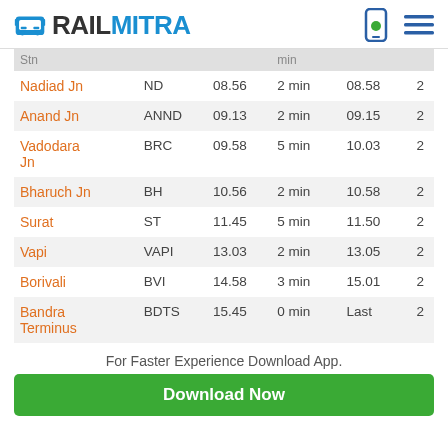RAILMITRA
| Stn |  |  | min |  |  |
| --- | --- | --- | --- | --- | --- |
| Nadiad Jn | ND | 08.56 | 2 min | 08.58 | 2 |
| Anand Jn | ANND | 09.13 | 2 min | 09.15 | 2 |
| Vadodara Jn | BRC | 09.58 | 5 min | 10.03 | 2 |
| Bharuch Jn | BH | 10.56 | 2 min | 10.58 | 2 |
| Surat | ST | 11.45 | 5 min | 11.50 | 2 |
| Vapi | VAPI | 13.03 | 2 min | 13.05 | 2 |
| Borivali | BVI | 14.58 | 3 min | 15.01 | 2 |
| Bandra Terminus | BDTS | 15.45 | 0 min | Last | 2 |
For Faster Experience Download App.
Download Now